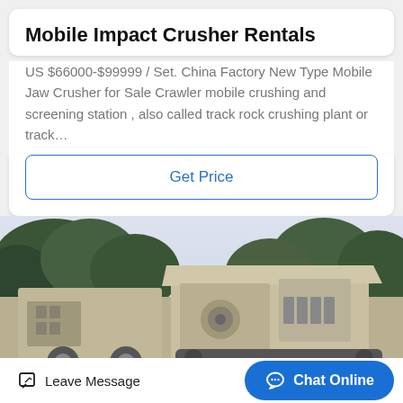Mobile Impact Crusher Rentals
US $66000-$99999 / Set. China Factory New Type Mobile Jaw Crusher for Sale Crawler mobile crushing and screening station , also called track rock crushing plant or track…
Get Price
[Figure (photo): Photo of a large mobile impact crusher machine (beige/tan colored) outdoors with green trees in the background]
Leave Message
Chat Online